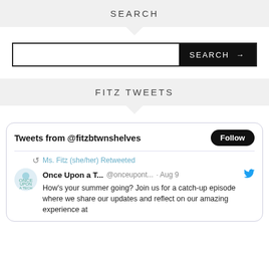SEARCH
[Figure (screenshot): Search bar with text input and black SEARCH button with arrow]
FITZ TWEETS
[Figure (screenshot): Embedded Twitter widget showing Tweets from @fitzbtwnshelves with a Follow button, a retweet by Ms. Fitz (she/her), and a tweet from Once Upon a T... @onceupont... Aug 9: How's your summer going? Join us for a catch-up episode where we share our updates and reflect on our amazing experience at]